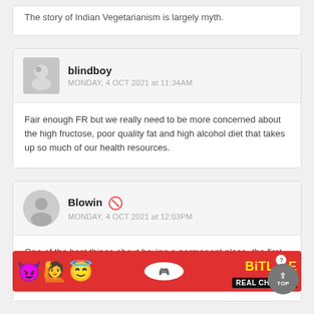The story of Indian Vegetarianism is largely myth.
blindboy
MONDAY, 4 OCT 2021 at 11:34AM
Fair enough FR but we really need to be more concerned about the high fructose, poor quality fat and high alcohol diet that takes up so much of our health resources.
Blowin
MONDAY, 4 OCT 2021 at 12:03PM
One of the best things about having a permanent place- the first time I've done so in almost three decades- is that it allo[ws...] avai[lable...] a few[...]
[Figure (screenshot): BitLife advertisement banner with emoji characters and REAL CHOICES text]